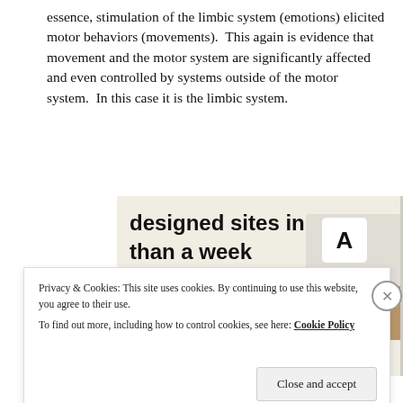essence, stimulation of the limbic system (emotions) elicited motor behaviors (movements). This again is evidence that movement and the motor system are significantly affected and even controlled by systems outside of the motor system. In this case it is the limbic system.
[Figure (screenshot): Advertisement banner showing text 'designed sites in less than a week' with green 'Explore options' button and website mockup images on a beige background.]
Privacy & Cookies: This site uses cookies. By continuing to use this website, you agree to their use.
To find out more, including how to control cookies, see here: Cookie Policy
Close and accept